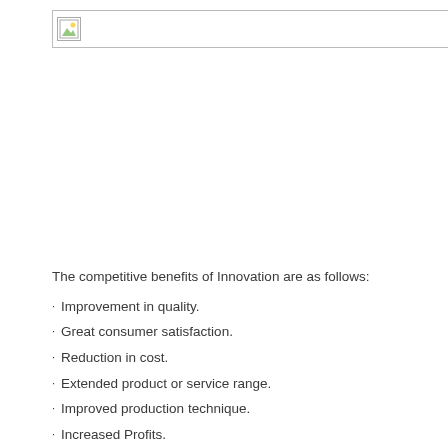[Figure (other): Placeholder image icon in a bordered header bar]
The competitive benefits of Innovation are as follows:
Improvement in quality.
Great consumer satisfaction.
Reduction in cost.
Extended product or service range.
Improved production technique.
Increased Profits.